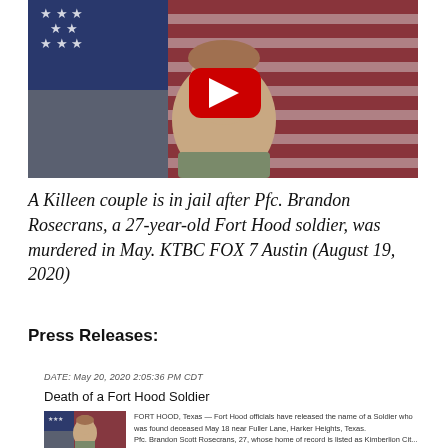[Figure (photo): YouTube video thumbnail showing a young soldier in uniform in front of an American flag, with a red YouTube play button overlay]
A Killeen couple is in jail after Pfc. Brandon Rosecrans, a 27-year-old Fort Hood soldier, was murdered in May. KTBC FOX 7 Austin (August 19, 2020)
Press Releases:
DATE: May 20, 2020 2:05:36 PM CDT
Death of a Fort Hood Soldier
[Figure (photo): Small photo of soldier in front of American flag]
FORT HOOD, Texas — Fort Hood officials have released the name of a Soldier who was found deceased May 18 near Fuller Lane, Harker Heights, Texas.
Pfc. Brandon Scott Rosecrans, 27, whose home of record is listed as Kimberlion Cit...